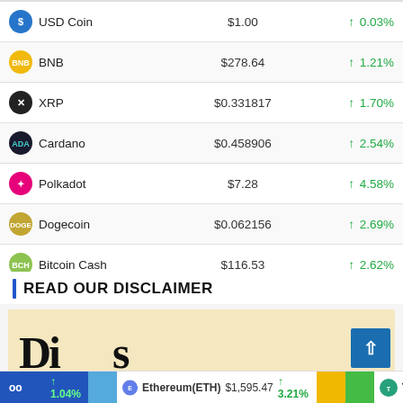| Coin | Price | Change |
| --- | --- | --- |
| USD Coin | $1.00 | ↑ 0.03% |
| BNB | $278.64 | ↑ 1.21% |
| XRP | $0.331817 | ↑ 1.70% |
| Cardano | $0.458906 | ↑ 2.54% |
| Polkadot | $7.28 | ↑ 4.58% |
| Dogecoin | $0.062156 | ↑ 2.69% |
| Bitcoin Cash | $116.53 | ↑ 2.62% |
READ OUR DISCLAIMER
[Figure (photo): Disclaimer image with large handwritten-style text on a parchment-colored background]
Ethereum(ETH) $1,595.47 ↑ 3.21% Tether(USDT)